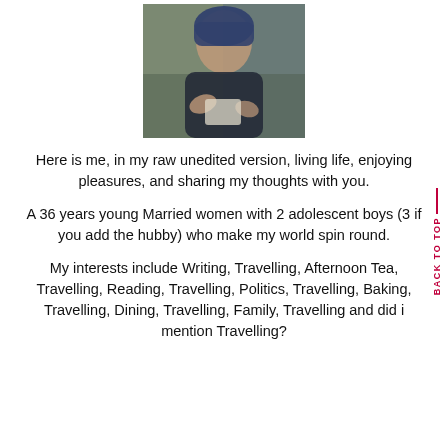[Figure (photo): A woman wearing a blue headscarf and dark clothing, looking down, photographed indoors in a candid style.]
Here is me, in my raw unedited version, living life, enjoying pleasures, and sharing my thoughts with you.
A 36 years young Married women with 2 adolescent boys (3 if you add the hubby) who make my world spin round.
My interests include Writing, Travelling, Afternoon Tea, Travelling, Reading, Travelling, Politics, Travelling, Baking, Travelling, Dining, Travelling, Family, Travelling and did i mention Travelling?